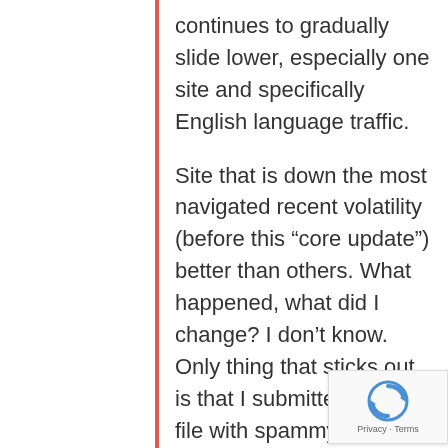continues to gradually slide lower, especially one site and specifically English language traffic.
Site that is down the most navigated recent volatility (before this “core update”) better than others. What happened, what did I change? I don’t know. Only thing that sticks out is that I submitted disavow file with spammy links. I know Google has terrible, lame ranking algos, but maybe they are even dumber than I think and fake backlinks from fake sites are
[Figure (logo): reCAPTCHA logo with Privacy and Terms text]